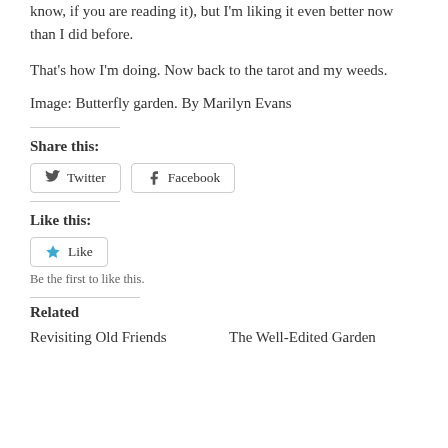know, if you are reading it), but I'm liking it even better now than I did before.
That's how I'm doing. Now back to the tarot and my weeds.
Image: Butterfly garden. By Marilyn Evans
Share this:
Twitter  Facebook
Like this:
Like
Be the first to like this.
Related
Revisiting Old Friends    The Well-Edited Garden